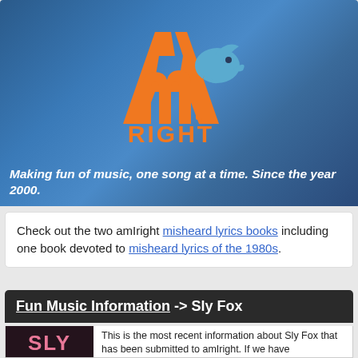[Figure (logo): AmIRight logo with orange stylized letters 'ami' and blue bird, with 'RIGHT' text below in orange, on a blue textured background]
Making fun of music, one song at a time. Since the year 2000.
Check out the two amIright misheard lyrics books including one book devoted to misheard lyrics of the 1980s.
Fun Music Information -> Sly Fox
[Figure (photo): Album cover image showing 'SLY' text in large pink letters on dark background]
This is the most recent information about Sly Fox that has been submitted to amIright. If we have